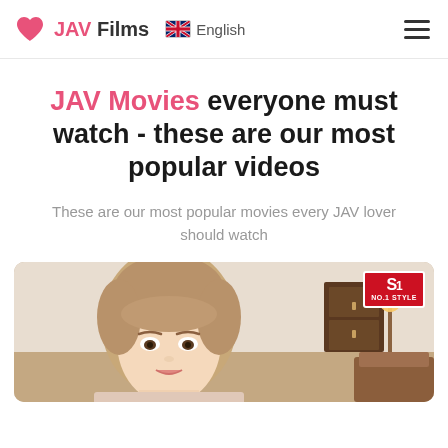JAV Films  English
JAV Movies everyone must watch - these are our most popular videos
These are our most popular movies every JAV lover should watch
[Figure (photo): Thumbnail image of a woman with light brown hair in a bedroom setting, with an S1 NO.1 STYLE logo badge in the top right corner]